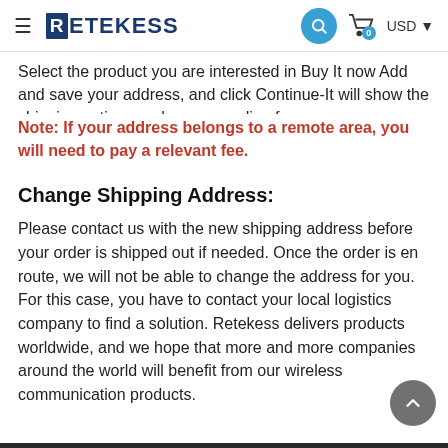RETEKESS
Select the product you are interested in Buy It now Add and save your address, and click Continue-It will show the shipping options and corresponding fee. Note: If your address belongs to a remote area, you will need to pay a relevant fee.
Change Shipping Address:
Please contact us with the new shipping address before your order is shipped out if needed. Once the order is en route, we will not be able to change the address for you. For this case, you have to contact your local logistics company to find a solution. Retekess delivers products worldwide, and we hope that more and more companies around the world will benefit from our wireless communication products.